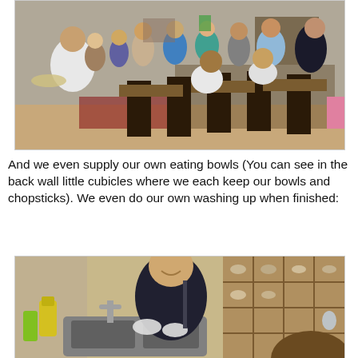[Figure (photo): A busy dining hall or cafeteria with many people eating and standing in line. A woman in a white hoodie carries a tray in the foreground. Dark wooden tables and chairs. Back wall has small cubicles for bowls and chopsticks.]
And we even supply our own eating bowls (You can see in the back wall little cubicles where we each keep our bowls and chopsticks). We even do our own washing up when finished:
[Figure (photo): A person washing dishes at a sink, smiling, wearing gloves. In the background are wooden cubicle shelves holding bowls and utensils. A yellow dish soap bottle is visible near the sink.]